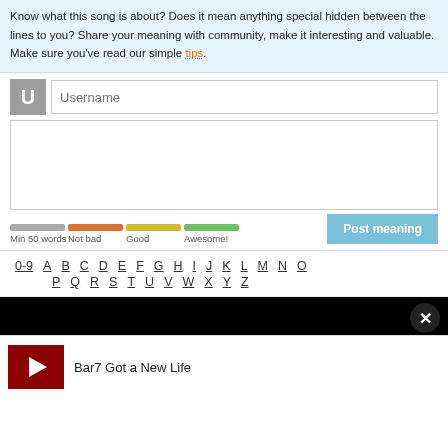Know what this song is about? Does it mean anything special hidden between the lines to you? Share your meaning with community, make it interesting and valuable. Make sure you've read our simple tips.
[Figure (screenshot): Username input field with avatar placeholder and text area for posting meaning, with progress bars labeled Min 50 words, Not bad, Good, Awesome! and a Post meaning button]
0-9 A B C D E F G H I J K L M N O P Q R S T U V W X Y Z
[Figure (screenshot): Black bar with close X button]
Bar7 Got a New Life